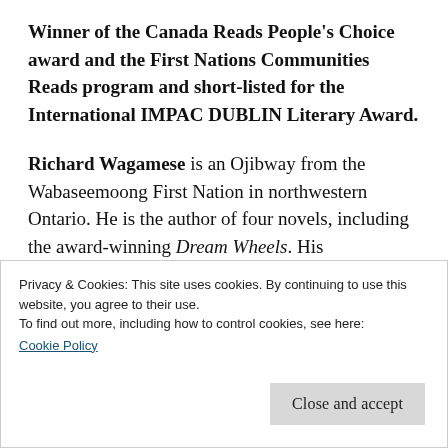Winner of the Canada Reads People's Choice award and the First Nations Communities Reads program and short-listed for the International IMPAC DUBLIN Literary Award.
Richard Wagamese is an Ojibway from the Wabaseemoong First Nation in northwestern Ontario. He is the author of four novels, including the award-winning Dream Wheels. His autobiographical book For Joshua was published to critical acclaim, and One Native Life was selected as one of the Globe & Mail's Top 100...
Privacy & Cookies: This site uses cookies. By continuing to use this website, you agree to their use.
To find out more, including how to control cookies, see here:
Cookie Policy
Close and accept